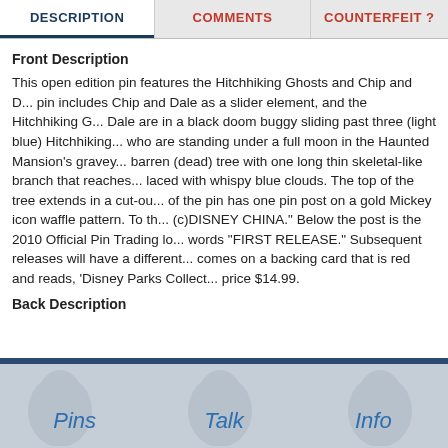DESCRIPTION | COMMENTS | COUNTERFEIT ?
Front Description
This open edition pin features the Hitchhiking Ghosts and Chip and D... pin includes Chip and Dale as a slider element, and the Hitchhiking G... Dale are in a black doom buggy sliding past three (light blue) Hitchhiking... who are standing under a full moon in the Haunted Mansion's gravey... barren (dead) tree with one long thin skeletal-like branch that reaches... laced with whispy blue clouds. The top of the tree extends in a cut-ou... of the pin has one pin post on a gold Mickey icon waffle pattern. To th... (c)DISNEY CHINA." Below the post is the 2010 Official Pin Trading lo... words "FIRST RELEASE." Subsequent releases will have a different... comes on a backing card that is red and reads, 'Disney Parks Collect... price $14.99.
Back Description
Pins   Talk   Info